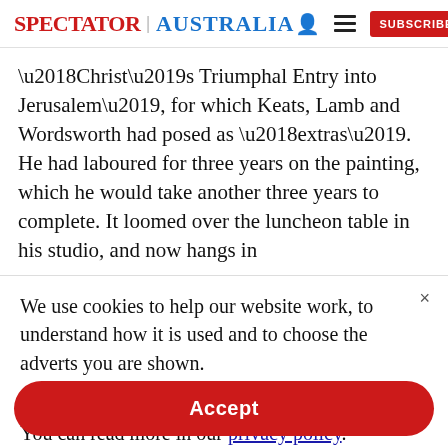SPECTATOR | AUSTRALIA [person icon] [menu icon] SUBSCRIBE
'Christ's Triumphal Entry into Jerusalem', for which Keats, Lamb and Wordsworth had posed as 'extras'. He had laboured for three years on the painting, which he would take another three years to complete. It loomed over the luncheon table in his studio, and now hangs in
We use cookies to help our website work, to understand how it is used and to choose the adverts you are shown.
By clicking "Accept" you agree to us doing so. You can read more in our privacy policy.
Accept